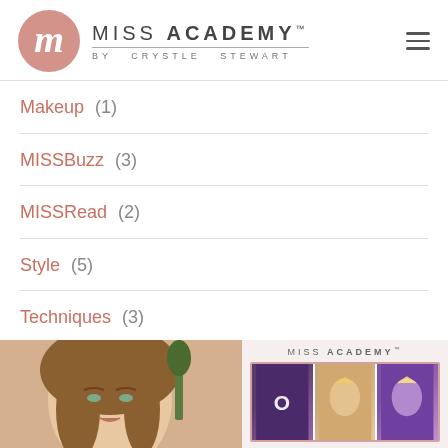[Figure (logo): Miss Academy by Crystle Stewart logo with pink M circle and text]
Makeup (1)
MISSBuzz (3)
MISSRead (2)
Style (5)
Techniques (3)
[Figure (photo): Bottom left: woman with makeup photo]
[Figure (photo): Bottom right: Miss Academy logo with collage of pageant photos]